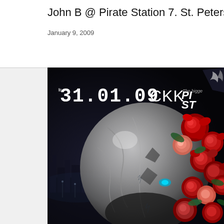John B @ Pirate Station 7. St. Petersburg
January 9, 2009
[Figure (illustration): Promotional event poster for Pirate Station 7, showing a metallic robotic head/helmet covered with red roses on the right side. Text on poster reads '31.01.09 CKK' in large digital-style font, with partial 'PIRATE STATION' logo visible in upper right. Dark cityscape background.]